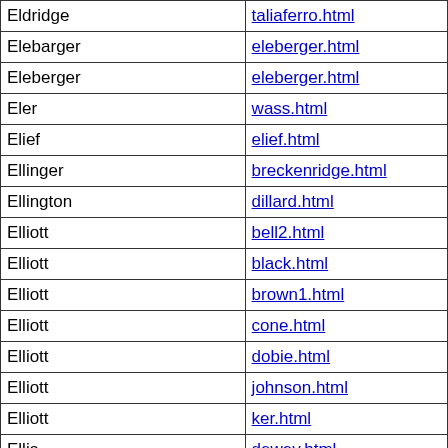| Name | Link |
| --- | --- |
| Eldridge | taliaferro.html |
| Elebarger | eleberger.html |
| Eleberger | eleberger.html |
| Eler | wass.html |
| Elief | elief.html |
| Ellinger | breckenridge.html |
| Ellington | dillard.html |
| Elliott | bell2.html |
| Elliott | black.html |
| Elliott | brown1.html |
| Elliott | cone.html |
| Elliott | dobie.html |
| Elliott | johnson.html |
| Elliott | ker.html |
| Ellis | dewey.html |
| Ellis | frisbee.html |
| Ellis | gieger.html |
| Ellis | hutsell.html |
| Ellis | marsh.html |